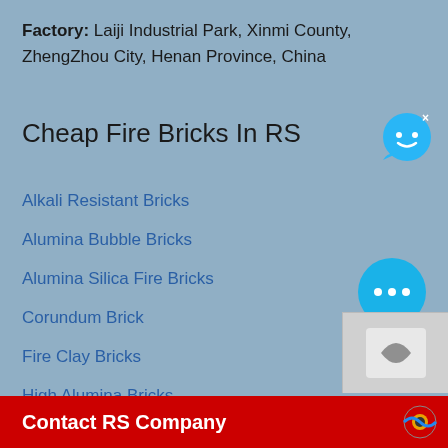Factory: Laiji Industrial Park, Xinmi County, ZhengZhou City, Henan Province, China
Cheap Fire Bricks In RS
Alkali Resistant Bricks
Alumina Bubble Bricks
Alumina Silica Fire Bricks
Corundum Brick
Fire Clay Bricks
High Alumina Bricks
Insulating Fire Bricks
Magnesia Bricks
[Figure (illustration): Chat/message bubble icon with smiley face in blue, top right corner]
[Figure (illustration): Blue circular chat icon with ellipsis dots, bottom right]
Contact RS Company